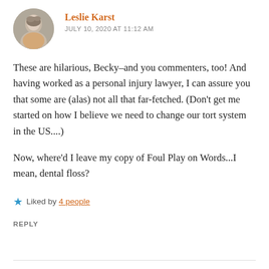Leslie Karst
JULY 10, 2020 AT 11:12 AM
These are hilarious, Becky–and you commenters, too! And having worked as a personal injury lawyer, I can assure you that some are (alas) not all that far-fetched. (Don't get me started on how I believe we need to change our tort system in the US....)
Now, where'd I leave my copy of Foul Play on Words...I mean, dental floss?
Liked by 4 people
REPLY